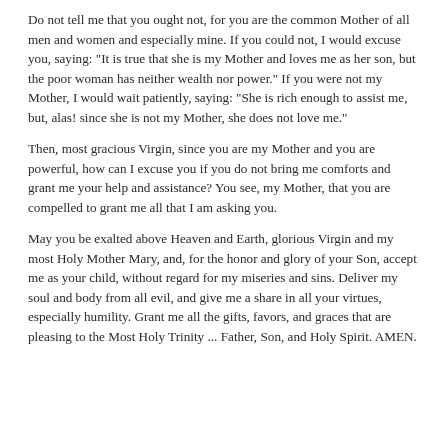Do not tell me that you ought not, for you are the common Mother of all men and women and especially mine. If you could not, I would excuse you, saying: "It is true that she is my Mother and loves me as her son, but the poor woman has neither wealth nor power." If you were not my Mother, I would wait patiently, saying: "She is rich enough to assist me, but, alas! since she is not my Mother, she does not love me."
Then, most gracious Virgin, since you are my Mother and you are powerful, how can I excuse you if you do not bring me comforts and grant me your help and assistance? You see, my Mother, that you are compelled to grant me all that I am asking you.
May you be exalted above Heaven and Earth, glorious Virgin and my most Holy Mother Mary, and, for the honor and glory of your Son, accept me as your child, without regard for my miseries and sins. Deliver my soul and body from all evil, and give me a share in all your virtues, especially humility. Grant me all the gifts, favors, and graces that are pleasing to the Most Holy Trinity ... Father, Son, and Holy Spirit. AMEN.